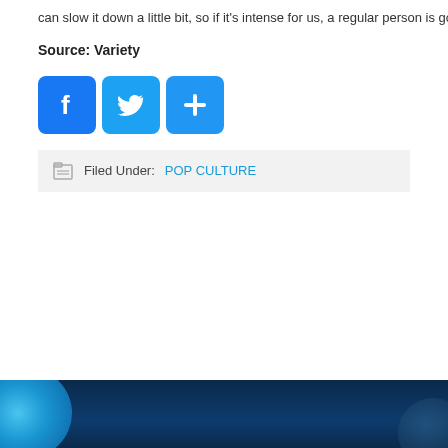can slow it down a little bit, so if it's intense for us, a regular person is go
Source: Variety
[Figure (other): Social share buttons: Facebook (blue), Twitter (blue), and a blue plus/add button]
Filed Under: POP CULTURE
[Figure (other): Dark blue footer background with a bright blue circular bokeh light on the left and a partial dark circle on the right]